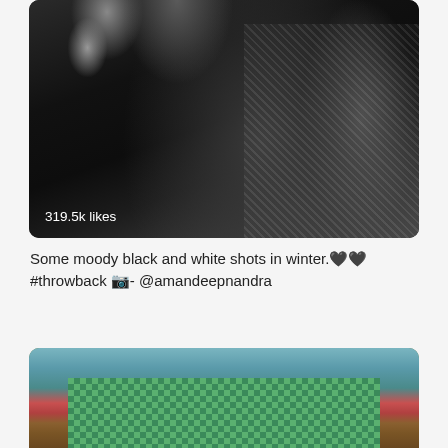[Figure (photo): Black and white photo of a woman with long dark hair, wearing a dark coat with textured/patterned fur scarf. Moody portrait style. Overlay text shows '319.5k likes'.]
Some moody black and white shots in winter.🖤🖤 #throwback 📷- @amandeepnandra
[Figure (photo): Partial color photo of a woman smiling, wearing red lipstick and a green checkered/plaid scarf, with a blurred warm-toned background.]